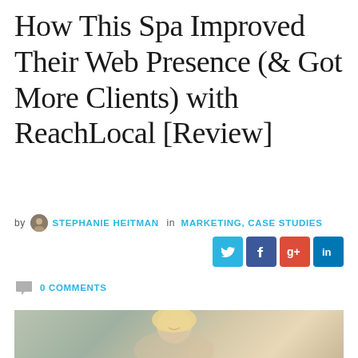How This Spa Improved Their Web Presence (& Got More Clients) with ReachLocal [Review]
by STEPHANIE HEITMAN in MARKETING, CASE STUDIES
[Figure (infographic): Social share buttons: Twitter (blue), Facebook (dark blue), Google+ (red), LinkedIn (blue)]
0 COMMENTS
[Figure (photo): Woman with blonde hair smiling while using a tablet, seated in a relaxed setting]